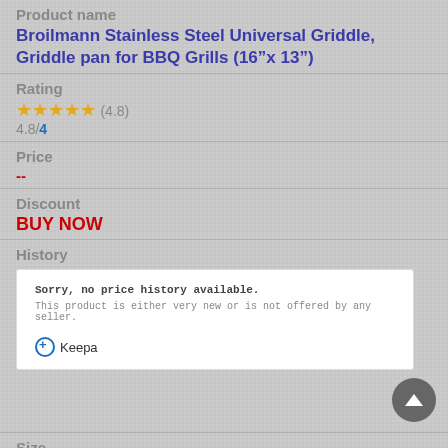Product name
Broilmann Stainless Steel Universal Griddle, Griddle pan for BBQ Grills (16”x 13”)
Rating
★★★★★ (4.8)
4.8/4
Price
--
Discount
BUY NOW
History
[Figure (other): Keepa price history widget showing 'Sorry, no price history available. This product is either very new or is not offered by any seller.' with Keepa branding]
Size
x x
Seller
BHLILI_BLlian Yinyi fuzhuang shenchang